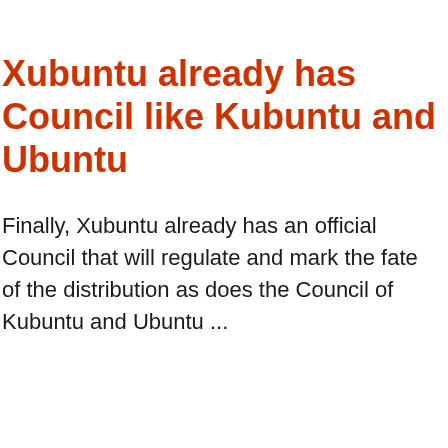Xubuntu already has Council like Kubuntu and Ubuntu
Finally, Xubuntu already has an official Council that will regulate and mark the fate of the distribution as does the Council of Kubuntu and Ubuntu ...